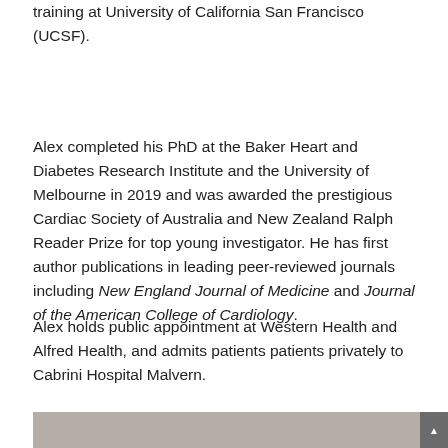training at University of California San Francisco (UCSF).
Alex completed his PhD at the Baker Heart and Diabetes Research Institute and the University of Melbourne in 2019 and was awarded the prestigious Cardiac Society of Australia and New Zealand Ralph Reader Prize for top young investigator. He has first author publications in leading peer-reviewed journals including New England Journal of Medicine and Journal of the American College of Cardiology.
Alex holds public appointment at Western Health and Alfred Health, and admits patients patients privately to Cabrini Hospital Malvern.
[Figure (photo): Partial photograph visible at the bottom of the page, partially cropped, with a gray/beige background tone.]